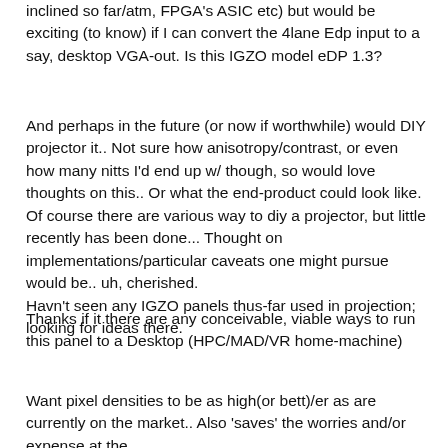inclined so far/atm, FPGA's ASIC etc) but would be exciting (to know) if I can convert the 4lane Edp input to a say, desktop VGA-out. Is this IGZO model eDP 1.3?
And perhaps in the future (or now if worthwhile) would DIY projector it.. Not sure how anisotropy/contrast, or even how many nitts I'd end up w/ though, so would love thoughts on this.. Or what the end-product could look like. Of course there are various way to diy a projector, but little recently has been done... Thought on implementations/particular caveats one might pursue would be.. uh, cherished.
Havn't seen any IGZO panels thus-far used in projection; looking for ideas there.
Thanks if it there are any conceivable, viable ways to run this panel to a Desktop (HPC/MAD/VR home-machine)
Want pixel densities to be as high(or bett)/er as are currently on the market.. Also 'saves' the worries and/or expense at the